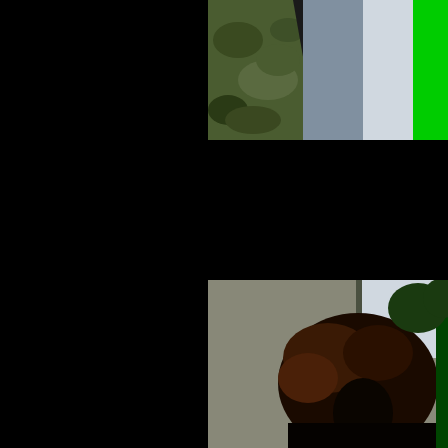[Figure (photo): Partial photo in upper right showing camo pattern fabric and green vertical bar against a light background]
Click here to view all 
Click here to view all S
Not a member?  What are you
[Figure (photo): Photo of a person with a large afro hairstyle seen from behind/side, standing near a window with concrete wall visible]